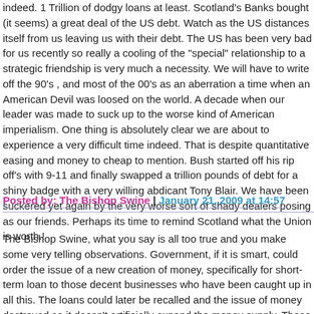indeed. 1 Trillion of dodgy loans at least. Scotland's Banks bought (it seems) a great deal of the US debt. Watch as the US distances itself from us leaving us with their debt. The US has been very bad for us recently so really a cooling of the "special" relationship to a strategic friendship is very much a necessity. We will have to write off the 90's , and most of the 00's as an aberration a time when an American Devil was loosed on the world. A decade when our leader was made to suck up to the worse kind of American imperialism. One thing is absolutely clear we are about to experience a very difficult time indeed. That is despite quantitative easing and money to cheap to mention. Bush started off his rip off's with 9-11 and finally swapped a trillion pounds of debt for a shiny badge with a very willing abdicant Tony Blair. We have been suckered yet again by the very worse sort of shady dealers posing as our friends. Perhaps its time to remind Scotland what the Union is worth.!
Posted by: The Bishop Swine | January 21, 2009 at 14:57
The Bishop Swine, what you say is all too true and you make some very telling observations. Government, if it is smart, could order the issue of a new creation of money, specifically for short-term loan to those decent businesses who have been caught up in all this. The loans could later be recalled and the issue of money destroyed so it doesn't artificially expand the money supply. These loans of course could only go out to those who can realistically pay it back. This would provide the much needed liquidity on the supply side.